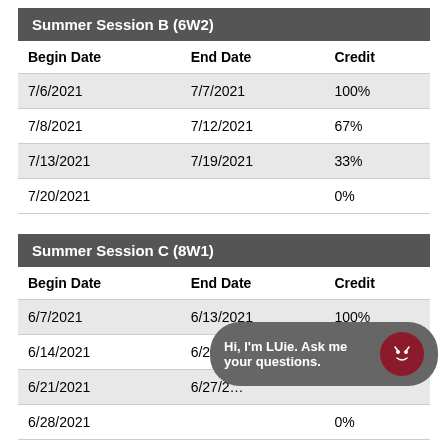| Begin Date | End Date | Credit |
| --- | --- | --- |
| 7/6/2021 | 7/7/2021 | 100% |
| 7/8/2021 | 7/12/2021 | 67% |
| 7/13/2021 | 7/19/2021 | 33% |
| 7/20/2021 |  | 0% |
| Begin Date | End Date | Credit |
| --- | --- | --- |
| 6/7/2021 | 6/13/2021 | 100% |
| 6/14/2021 | 6/20/2021 | 80% |
| 6/21/2021 | 6/27/2… |  |
| 6/28/2021 |  | 0% |